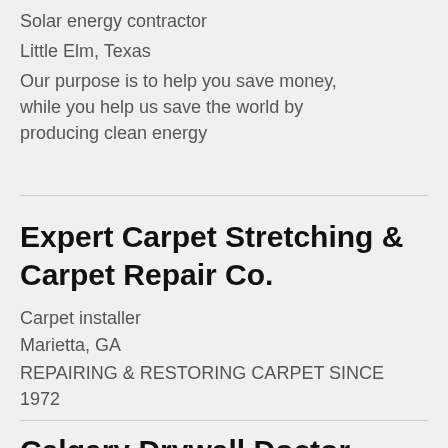Solar energy contractor
Little Elm, Texas
Our purpose is to help you save money, while you help us save the world by producing clean energy
Expert Carpet Stretching & Carpet Repair Co.
Carpet installer
Marietta, GA
REPAIRING & RESTORING CARPET SINCE 1972
Calgary Drywall Doctor